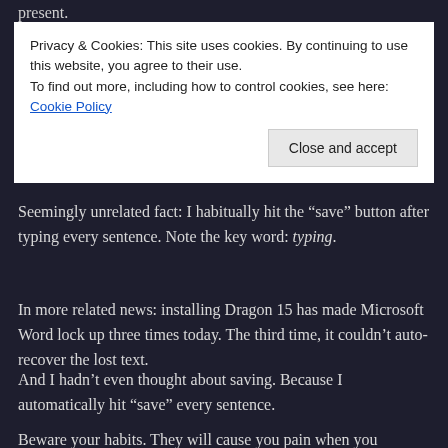present.
Privacy & Cookies: This site uses cookies. By continuing to use this website, you agree to their use.
To find out more, including how to control cookies, see here: Cookie Policy
Close and accept
Seemingly unrelated fact: I habitually hit the “save” button after typing every sentence. Note the key word: typing.
In more related news: installing Dragon 15 has made Microsoft Word lock up three times today. The third time, it couldn’t auto-recover the lost text.
And I hadn’t even thought about saving. Because I automatically hit “save” every sentence.
Beware your habits. They will cause you pain when you